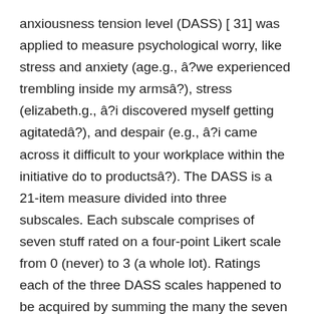anxiousness tension level (DASS) [ 31] was applied to measure psychological worry, like stress and anxiety (age.g., aˆ?we experienced trembling inside my armsaˆ?), stress (elizabeth.g., aˆ?i discovered myself getting agitateda˘?), and despair (e.g., aˆ?i came across it difficult to your workplace within the initiative do to productsa˘?). The DASS is a 21-item measure divided into three subscales. Each subscale comprises of seven stuff rated on a four-point Likert scale from 0 (never) to 3 (a whole lot). Ratings each of the three DASS scales happened to be acquired by summing the many the seven items in the measure, then multiplying the get by 2. larger ratings show greater amounts of stress and anxiety, tension, or depressive problems. Cronbach’s alphas in the present learn for patient reports are 0.88, 0.90, 0.91, for depression, 0.80, 0.82, and 0.85 for stress and